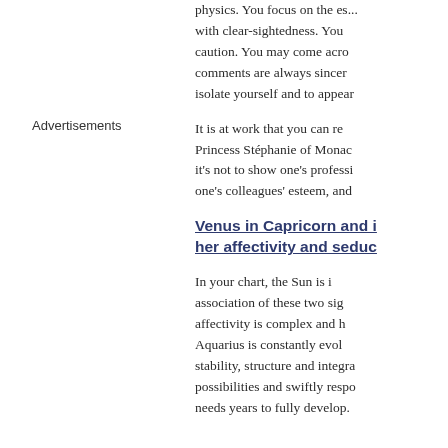physics. You focus on the es... with clear-sightedness. You... caution. You may come acro... comments are always sincer... isolate yourself and to appear...
It is at work that you can re... Princess Stéphanie of Monac... it's not to show one's professi... one's colleagues' esteem, and...
Venus in Capricorn and i... her affectivity and seduc...
In your chart, the Sun is i... association of these two sig... affectivity is complex and h... Aquarius is constantly evol... stability, structure and integra... possibilities and swiftly respo... needs years to fully develop.
Advertisements